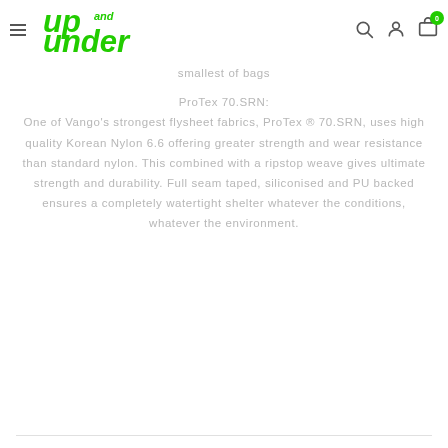Up and Under — navigation header with logo, search, account, cart icons
smallest of bags
ProTex 70.SRN:
One of Vango's strongest flysheet fabrics, ProTex ® 70.SRN, uses high quality Korean Nylon 6.6 offering greater strength and wear resistance than standard nylon. This combined with a ripstop weave gives ultimate strength and durability. Full seam taped, siliconised and PU backed ensures a completely watertight shelter whatever the conditions, whatever the environment.